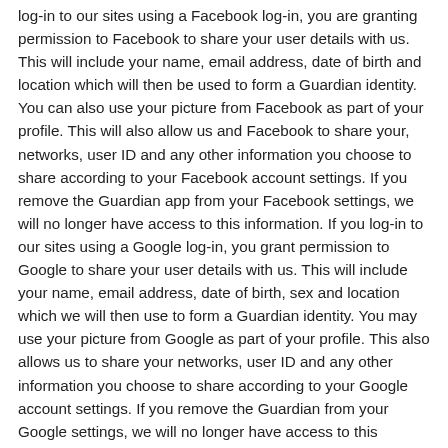log-in to our sites using a Facebook log-in, you are granting permission to Facebook to share your user details with us. This will include your name, email address, date of birth and location which will then be used to form a Guardian identity. You can also use your picture from Facebook as part of your profile. This will also allow us and Facebook to share your, networks, user ID and any other information you choose to share according to your Facebook account settings. If you remove the Guardian app from your Facebook settings, we will no longer have access to this information. If you log-in to our sites using a Google log-in, you grant permission to Google to share your user details with us. This will include your name, email address, date of birth, sex and location which we will then use to form a Guardian identity. You may use your picture from Google as part of your profile. This also allows us to share your networks, user ID and any other information you choose to share according to your Google account settings. If you remove the Guardian from your Google settings, we will no longer have access to this information. If you log-in to our sites using a twitter log-in, we receive your avatar (the small picture that appears next to your tweets) and twitter username.